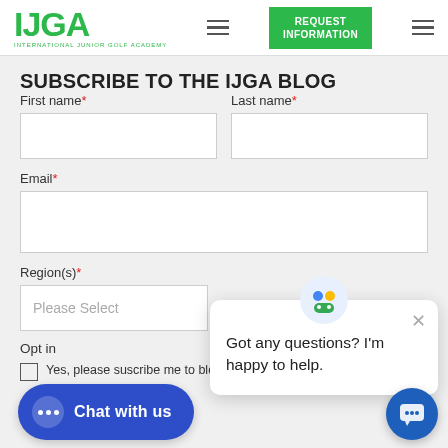[Figure (logo): IJGA logo — green bold letters with subtitle International Junior Golf Academy, plus hamburger menu icons and green REQUEST INFORMATION button]
SUBSCRIBE TO THE IJGA BLOG
First name*
Last name*
Email*
Region(s)*
Please Select
Opt in
Yes, please suscribe me to blog updates - I understand that I can u…
Got any questions? I'm happy to help.
Chat with us